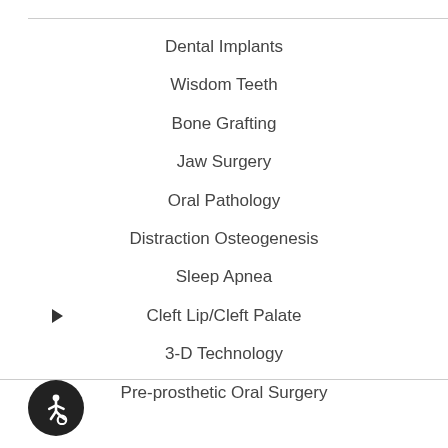Dental Implants
Wisdom Teeth
Bone Grafting
Jaw Surgery
Oral Pathology
Distraction Osteogenesis
Sleep Apnea
Cleft Lip/Cleft Palate
3-D Technology
Pre-prosthetic Oral Surgery
[Figure (illustration): Accessibility icon — wheelchair symbol in white on dark circular background]